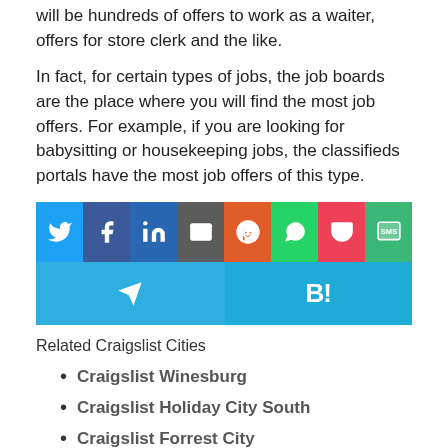will be hundreds of offers to work as a waiter, offers for store clerk and the like.
In fact, for certain types of jobs, the job boards are the place where you will find the most job offers. For example, if you are looking for babysitting or housekeeping jobs, the classifieds portals have the most job offers of this type.
[Figure (infographic): Social media share buttons: Twitter, Facebook, LinkedIn, Email, Reddit, WhatsApp, Pocket, SMS in top row; Telegram and Blogmarks (B!) in bottom row.]
Related Craigslist Cities
Craigslist Winesburg
Craigslist Holiday City South
Craigslist Forrest City